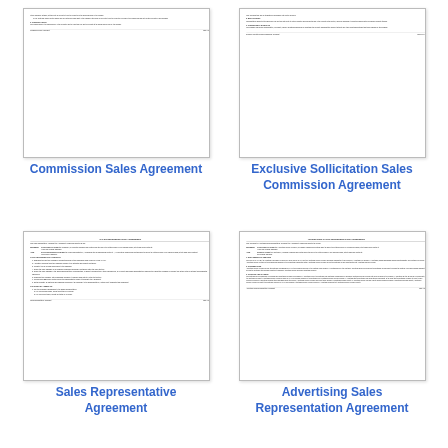[Figure (screenshot): Thumbnail of Commission Sales Agreement document page showing product prices and agent provisions]
Commission Sales Agreement
[Figure (screenshot): Thumbnail of Exclusive Sollicitation Sales Commission Agreement document page showing best efforts and promotional materials sections]
Exclusive Sollicitation Sales Commission Agreement
[Figure (screenshot): Thumbnail of Sales Representative Agreement document page showing full agreement text with between parties, sales representative agrees to, and company agrees to sections]
Sales Representative Agreement
[Figure (screenshot): Thumbnail of Advertising Sales Representation Agreement document page showing engagement of services, compensation, and invoicing and payment sections]
Advertising Sales Representation Agreement